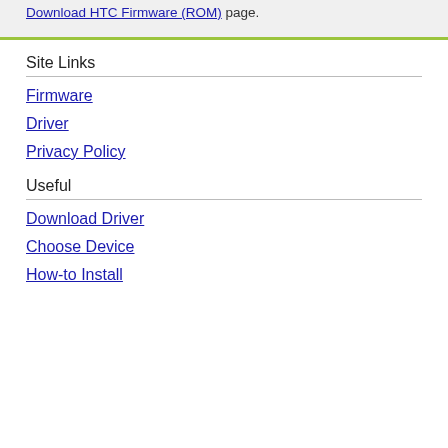Download HTC Firmware (ROM) page.
Site Links
Firmware
Driver
Privacy Policy
Useful
Download Driver
Choose Device
How-to Install